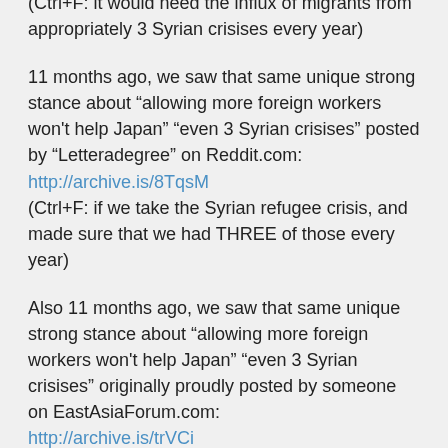(Ctrl+F: it would need the influx of migrants from appropriately 3 Syrian crisises every year)
11 months ago, we saw that same unique strong stance about “allowing more foreign workers won't help Japan” “even 3 Syrian crisises” posted by “Letteradegree” on Reddit.com: http://archive.is/8TqsM (Ctrl+F: if we take the Syrian refugee crisis, and made sure that we had THREE of those every year)
Also 11 months ago, we saw that same unique strong stance about “allowing more foreign workers won't help Japan” “even 3 Syrian crisises” originally proudly posted by someone on EastAsiaForum.com: http://archive.is/trVCi (Ctrl+F: if we take the Syrian refugee crisis, and made sure that we had THREE of those every year)